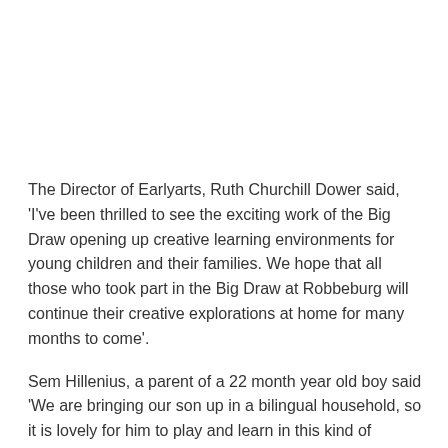The Director of Earlyarts, Ruth Churchill Dower said, 'I've been thrilled to see the exciting work of the Big Draw opening up creative learning environments for young children and their families. We hope that all those who took part in the Big Draw at Robbeburg will continue their creative explorations at home for many months to come'.
Sem Hillenius, a parent of a 22 month year old boy said 'We are bringing our son up in a bilingual household, so it is lovely for him to play and learn in this kind of setting, and to have the chance to be part of a UK festival of drawing'
The work created by the children and adults will be on